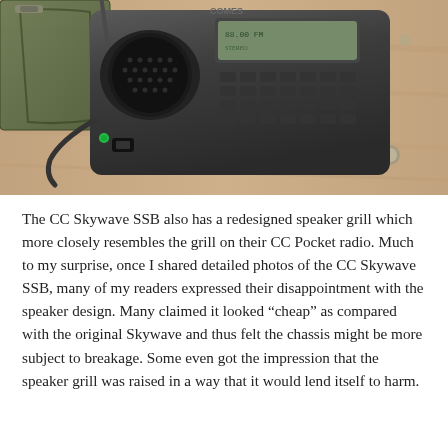[Figure (photo): A CC Skywave SSB portable shortwave radio with a telescoping antenna, placed on a wooden surface next to a green carrying case with a zipper strap. The radio is dark gray/black with a speaker grill, LCD display, keypad buttons, and a USB port visible. The wooden surface has metal fasteners visible in the background.]
The CC Skywave SSB also has a redesigned speaker grill which more closely resembles the grill on their CC Pocket radio. Much to my surprise, once I shared detailed photos of the CC Skywave SSB, many of my readers expressed their disappointment with the speaker design. Many claimed it looked “cheap” as compared with the original Skywave and thus felt the chassis might be more subject to breakage. Some even got the impression that the speaker grill was raised in a way that it would lend itself to harm.